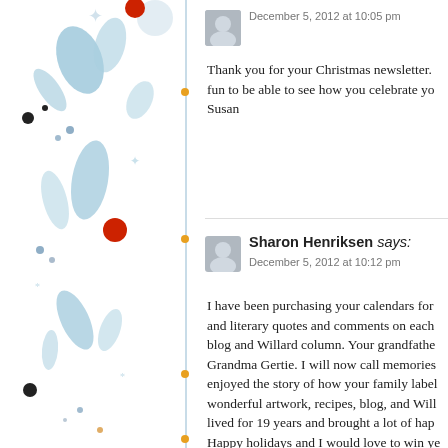[Figure (illustration): Decorative floral/botanical illustration on left panel with blue flowers, leaves, red berries, and black dots on white background with vertical blue dashed line and orange dots]
December 5, 2012 at 10:05 pm
Thank you for your Christmas newsletter. fun to be able to see how you celebrate yo Susan
Sharon Henriksen says:
December 5, 2012 at 10:12 pm
I have been purchasing your calendars for and literary quotes and comments on each blog and Willard column. Your grandfathe Grandma Gertie. I will now call memories enjoyed the story of how your family label wonderful artwork, recipes, blog, and Will lived for 19 years and brought a lot of hap Happy holidays and I would love to win ye